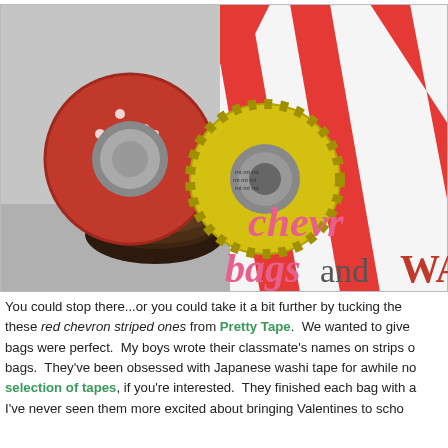[Figure (photo): Photo of decorative tape rolls (red polka dot, yellow checkered, dark brown/black) with red and white chevron striped paper in background. Overlay text reads 'chevr... bags and WA...' in pink and red decorative fonts.]
You could stop there...or you could take it a bit further by tucking these red chevron striped ones from Pretty Tape.  We wanted to give bags were perfect.  My boys wrote their classmate's names on strips of bags.  They've been obsessed with Japanese washi tape for awhile now selection of tapes, if you're interested.  They finished each bag with a I've never seen them more excited about bringing Valentines to scho...